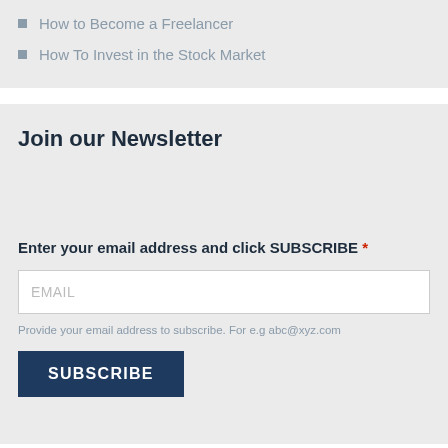How to Become a Freelancer
How To Invest in the Stock Market
Join our Newsletter
Enter your email address and click SUBSCRIBE *
EMAIL
Provide your email address to subscribe. For e.g abc@xyz.com
SUBSCRIBE